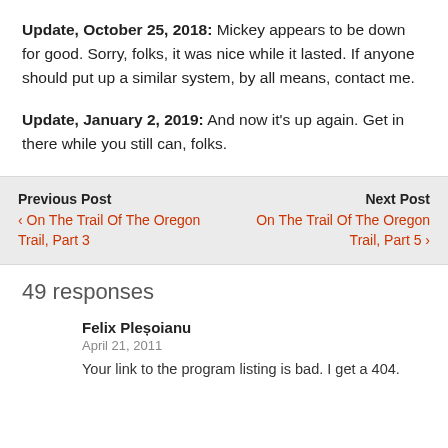Update, October 25, 2018: Mickey appears to be down for good. Sorry, folks, it was nice while it lasted. If anyone should put up a similar system, by all means, contact me.
Update, January 2, 2019: And now it's up again. Get in there while you still can, folks.
Previous Post
‹ On The Trail Of The Oregon Trail, Part 3
Next Post
On The Trail Of The Oregon Trail, Part 5 ›
49 responses
Felix Pleșoianu
April 21, 2011
Your link to the program listing is bad. I get a 404.